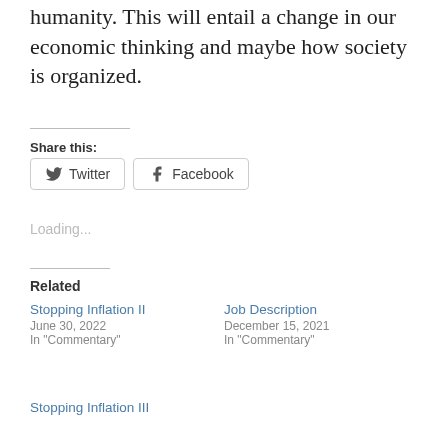humanity. This will entail a change in our economic thinking and maybe how society is organized.
Share this:
[Figure (other): Twitter and Facebook share buttons]
Loading...
Related
Stopping Inflation II
June 30, 2022
In "Commentary"
Job Description
December 15, 2021
In "Commentary"
Stopping Inflation III